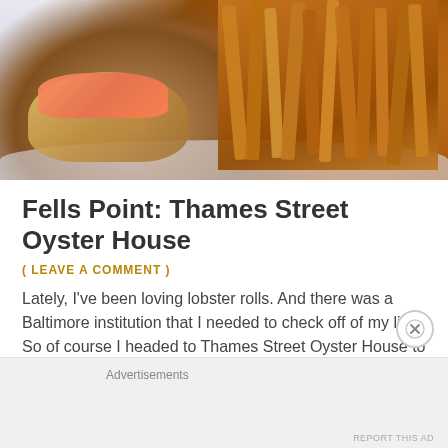[Figure (photo): Photo of a lobster roll sandwich on a white plate with french fries]
Fells Point: Thames Street Oyster House
( LEAVE A COMMENT )
Lately, I've been loving lobster rolls. And there was a Baltimore institution that I needed to check off of my list. So of course I headed to Thames Street Oyster House to get my next lobster roll fix.
Advertisements